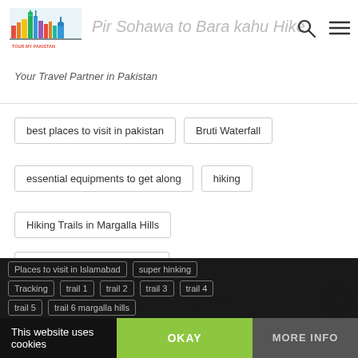Tour My Pakistan — Pir Sohawa to Bara kahu Hike — Your Travel Partner in Pakistan
best places to visit in pakistan
Bruti Waterfall
essential equipments to get along
hiking
Hiking Trails in Margalla Hills
Islamabad Adventure Tracks
islamabad visiting places
Margalla Hills
Pir Sohawa to bara kahu hike
Places to visit in Islamabad
super hinking
Tracking
trail 1
trail 2
trail 3
trail 4
trail 5
trail 6 margalla hills
This website uses cookies
OKAY
MORE INFO